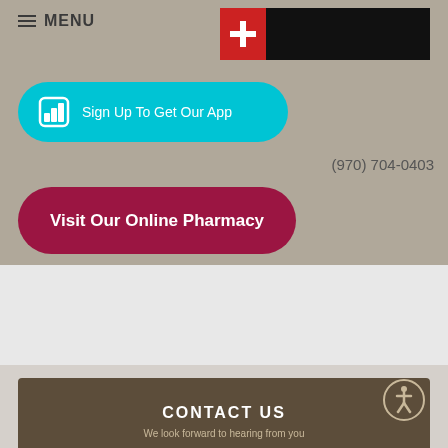≡ MENU
[Figure (logo): Pharmacy logo with red cross on black background]
[Figure (illustration): Sign Up To Get Our App button with app icon in cyan/teal rounded rectangle]
(970) 704-0403
Visit Our Online Pharmacy
CONTACT US
We look forward to hearing from you